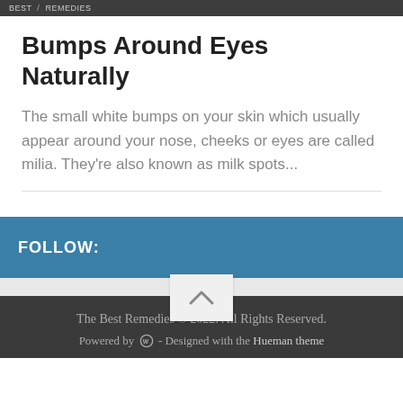BEST / REMEDIES
Bumps Around Eyes Naturally
The small white bumps on your skin which usually appear around your nose, cheeks or eyes are called milia. They're also known as milk spots...
FOLLOW:
The Best Remedies © 2022. All Rights Reserved. Powered by [WordPress] - Designed with the Hueman theme